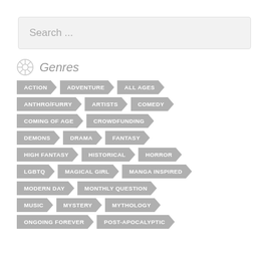Search ...
Genres
ACTION
ADVENTURE
ALL AGES
ANTHRO/FURRY
ARTISTS
COMEDY
COMING OF AGE
CROWDFUNDING
DEMONS
DRAMA
FANTASY
HIGH FANTASY
HISTORICAL
HORROR
LGBTQ
MAGICAL GIRL
MANGA INSPIRED
MODERN DAY
MONTHLY QUESTION
MUSIC
MYSTERY
MYTHOLOGY
ONGOING FOREVER
POST-APOCALYPTIC